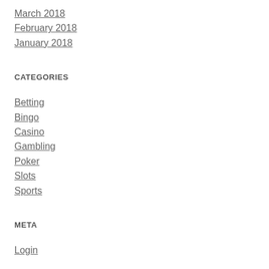March 2018
February 2018
January 2018
CATEGORIES
Betting
Bingo
Casino
Gambling
Poker
Slots
Sports
META
Login